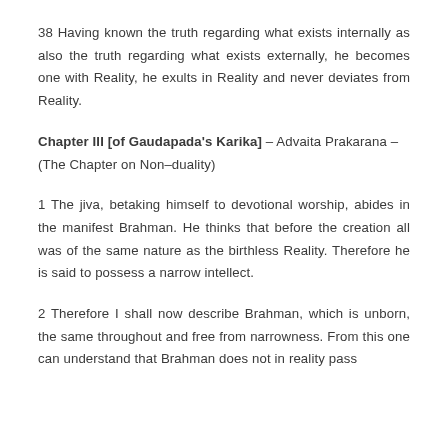38 Having known the truth regarding what exists internally as also the truth regarding what exists externally, he becomes one with Reality, he exults in Reality and never deviates from Reality.
Chapter III [of Gaudapada's Karika] – Advaita Prakarana – (The Chapter on Non–duality)
1 The jiva, betaking himself to devotional worship, abides in the manifest Brahman. He thinks that before the creation all was of the same nature as the birthless Reality. Therefore he is said to possess a narrow intellect.
2 Therefore I shall now describe Brahman, which is unborn, the same throughout and free from narrowness. From this one can understand that Brahman does not in reality pass